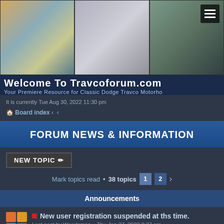[Figure (screenshot): Website header banner showing three RV/motorhome photos side by side with a hamburger menu icon in top right]
Welcome To Travcoforum.com
Your Premiere Resource for Classic Dodge Travco Motorho
It is currently Tue Aug 30, 2022 11:30 pm
Board index ‹ ‹
FORUM NEWS & INFORMATION
NEW TOPIC ✏
Mark topics read • 38 topics  1  2  >
Announcements
New user registration suspended at ths time.
Last post by Woodsman « Thu Jan 27, 2022 8:37 am
Replies: 1